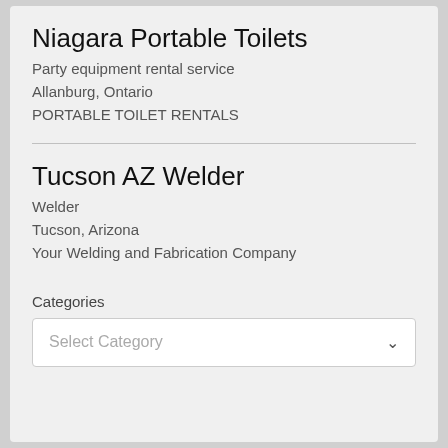Niagara Portable Toilets
Party equipment rental service
Allanburg, Ontario
PORTABLE TOILET RENTALS
Tucson AZ Welder
Welder
Tucson, Arizona
Your Welding and Fabrication Company
Categories
Select Category